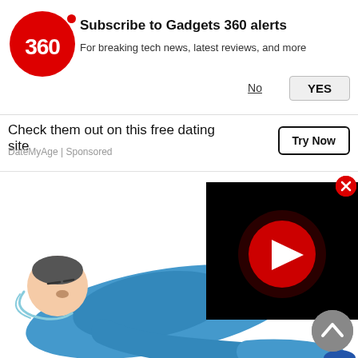[Figure (logo): Gadgets 360 red circular logo with '360' text in white]
Subscribe to Gadgets 360 alerts
For breaking tech news, latest reviews, and more
No
YES
Check them out on this free dating site
DateMyAge | Sponsored
Try Now
[Figure (illustration): Illustration of a person lying down in blue clothing with headphones, reaching out with one hand]
[Figure (screenshot): Black video player overlay with red play button circle in center]
[Figure (other): Red circle close/X button top right of video overlay]
[Figure (other): Dark grey scroll-up chevron button bottom right]